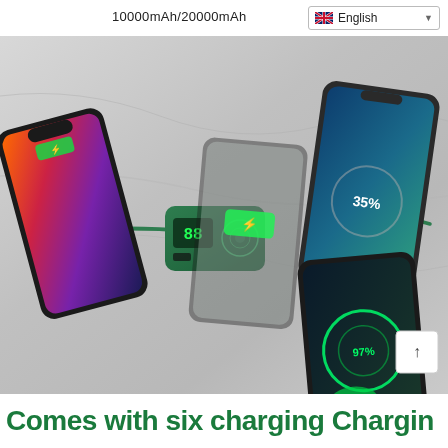10000mAh/20000mAh
[Figure (photo): A green wireless power bank charging multiple smartphones simultaneously. The power bank has a wireless charging pad on top and built-in cables. Three phones are shown connected: an iPhone with a colorful wallpaper on the left, a phone with a blue galaxy wallpaper on the upper right, and a Samsung phone with a green circular charging animation on the lower right. All on a marble/grey surface.]
Comes with six charging Chargin...